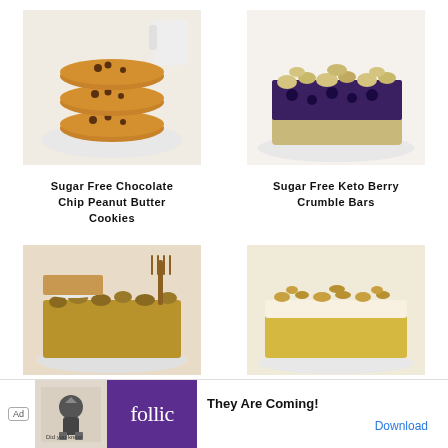[Figure (photo): Stack of chocolate chip peanut butter cookies on a white plate]
[Figure (photo): Sugar free keto berry crumble bar on a white plate]
Sugar Free Chocolate Chip Peanut Butter Cookies
Sugar Free Keto Berry Crumble Bars
[Figure (photo): Peanut butter crumble bars on a white plate with fork]
[Figure (photo): Yellow cake bar topped with nuts and cream on a white plate]
Ad   They Are Coming!   Download